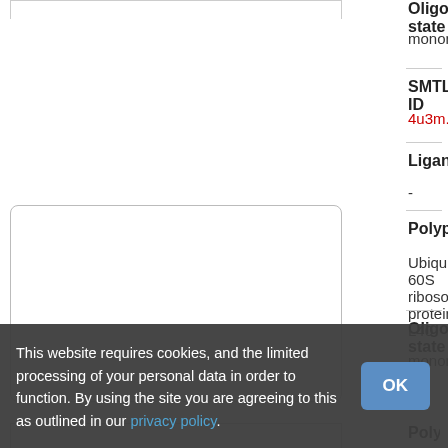Oligo-state
monomer
[Figure (other): Protein/molecule structure image placeholder (white box with rounded border, partially visible at top)]
SMTL ID
4u3m.72
Ligands
-
Polypeptides
Ubiquitin-60S ribosomal protein L40
Oligo-state
monomer
SMTL ID
Polypeptides
This website requires cookies, and the limited processing of your personal data in order to function. By using the site you are agreeing to this as outlined in our privacy policy.